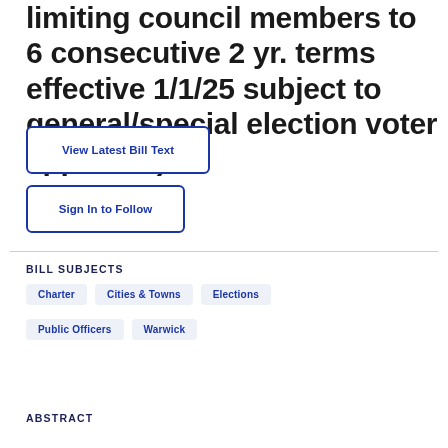limiting council members to 6 consecutive 2 yr. terms effective 1/1/25 subject to general/special election voter approval.)
View Latest Bill Text
Sign In to Follow
BILL SUBJECTS
Charter
Cities & Towns
Elections
Public Officers
Warwick
ABSTRACT